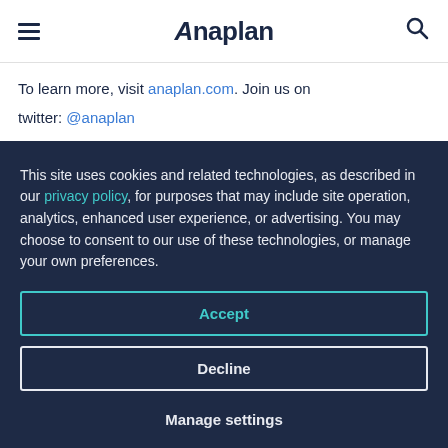Anaplan (logo), menu icon, search icon
To learn more, visit anaplan.com. Join us on
twitter: @anaplan
Media Contact:
This site uses cookies and related technologies, as described in our privacy policy, for purposes that may include site operation, analytics, enhanced user experience, or advertising. You may choose to consent to our use of these technologies, or manage your own preferences.
Accept
Decline
Manage settings